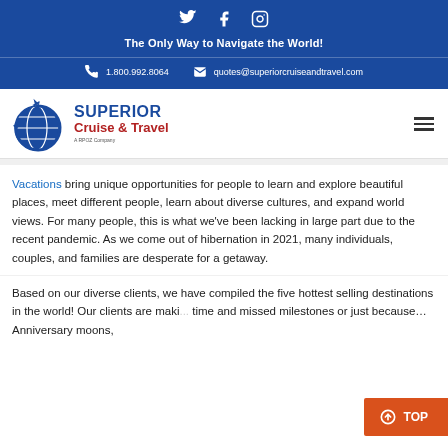[Figure (logo): Twitter, Facebook, Instagram social media icons in white on blue background]
The Only Way to Navigate the World!
1.800.992.8064   quotes@superiorcruiseandtravel.com
[Figure (logo): Superior Cruise & Travel logo with globe and airplane icon, A RPOZ Company]
Vacations bring unique opportunities for people to learn and explore beautiful places, meet different people, learn about diverse cultures, and expand world views. For many people, this is what we've been lacking in large part due to the recent pandemic. As we come out of hibernation in 2021, many individuals, couples, and families are desperate for a getaway.
Based on our diverse clients, we have compiled the five hottest selling destinations in the world! Our clients are maki... time and missed milestones or just because… Anniversary moons,